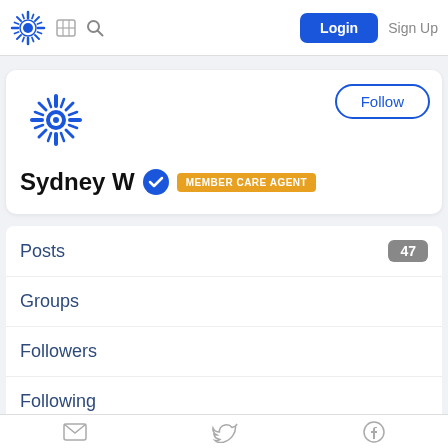Login  Sign Up
[Figure (logo): Blue starburst/sunburst logo for the platform]
Follow
Sydney W
MEMBER CARE AGENT
Posts  47
Groups
Followers
Following